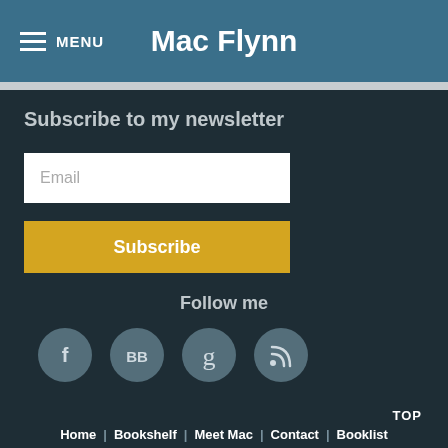MENU   Mac Flynn
Subscribe to my newsletter
Email
Subscribe
Follow me
[Figure (other): Social media icons: Facebook (f), BookBub (BB), Goodreads (g), RSS feed icon — each in a grey circle]
TOP
Home | Bookshelf | Meet Mac | Contact | Booklist